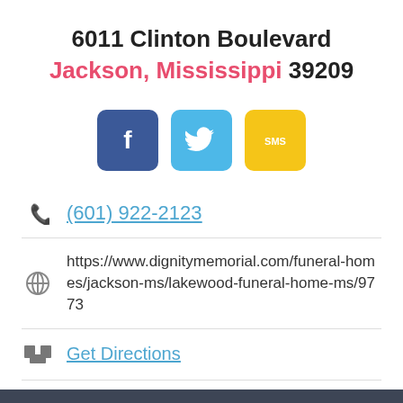6011 Clinton Boulevard
Jackson, Mississippi 39209
[Figure (other): Three social media icon buttons: Facebook (blue), Twitter (light blue), SMS (yellow)]
(601) 922-2123
https://www.dignitymemorial.com/funeral-homes/jackson-ms/lakewood-funeral-home-ms/9773
Get Directions
Additional Info